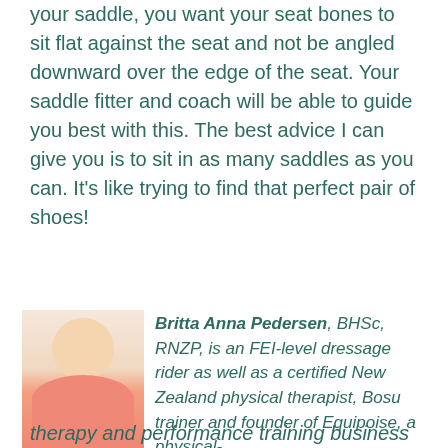your saddle, you want your seat bones to sit flat against the seat and not be angled downward over the edge of the seat. Your saddle fitter and coach will be able to guide you best with this. The best advice I can give you is to sit in as many saddles as you can. It’s like trying to find that perfect pair of shoes!
[Figure (photo): Portrait photo of a young woman with blonde hair, wearing a pink sports bra top, smiling at the camera]
Credit: Photoshoot.co.nz
Britta Anna Pedersen, BHSc, RNZP, is an FEI-level dressage rider as well as a certified New Zealand physical therapist, Bosu trainer and founder of Equipoise, a physical-
therapy and performance training business...